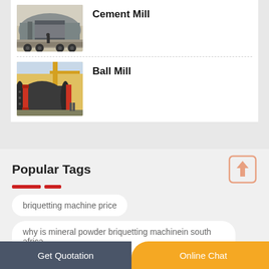[Figure (photo): Cement mill industrial machine on a transport vehicle]
Cement Mill
[Figure (photo): Ball mill industrial machine being assembled or transported]
Ball Mill
Popular Tags
briquetting machine price
why is mineral powder briquetting machinein south africa
Get Quotation   Online Chat